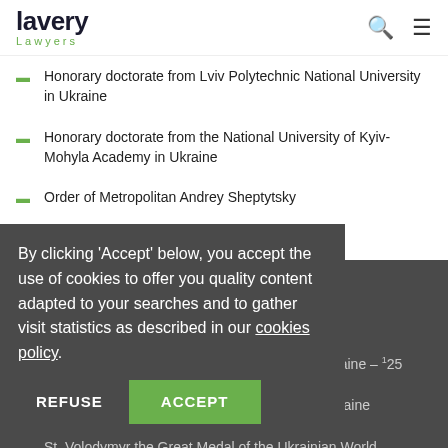Lavery Lawyers
Honorary doctorate from Lviv Polytechnic National University in Ukraine
Honorary doctorate from the National University of Kyiv-Mohyla Academy in Ukraine
Order of Metropolitan Andrey Sheptytsky
Queen Elizabeth II Diamond Jubilee Medal
Queen Elizabeth II Golden Jubilee Medal
Order of Prince Yaroslav the Wise – V Degree
Opinion on procedures and the Governor of Ukraine – 25
Medal of the National Olympic Committee of Ukraine
St. Volodymyr the Great Medal of the Ukrainian World Congress
Shevchenko Medal of the Ukrainian Canadian Congress
By clicking 'Accept' below, you accept the use of cookies to offer you quality content adapted to your searches and to gather visit statistics as described in our cookies policy.